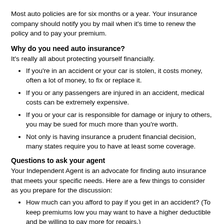Most auto policies are for six months or a year. Your insurance company should notify you by mail when it's time to renew the policy and to pay your premium.
Why do you need auto insurance?
It's really all about protecting yourself financially.
If you're in an accident or your car is stolen, it costs money, often a lot of money, to fix or replace it.
If you or any passengers are injured in an accident, medical costs can be extremely expensive.
If you or your car is responsible for damage or injury to others, you may be sued for much more than you're worth.
Not only is having insurance a prudent financial decision, many states require you to have at least some coverage.
Questions to ask your agent
Your Independent Agent is an advocate for finding auto insurance that meets your specific needs. Here are a few things to consider as you prepare for the discussion:
How much can you afford to pay if you get in an accident? (To keep premiums low you may want to have a higher deductible and be willing to pay more for repairs.)
What is the insurance company's level of service and ability to pay claims?
What discounts are available? (Ask about good driver, multiple policy and student discounts.)
What's the procedure for filing and settling a claim? (Ask who to call and what happens after you file a claim.)